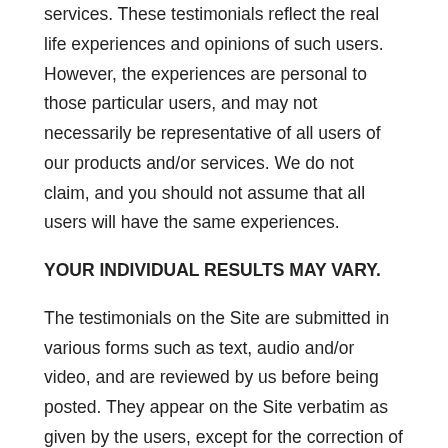services. These testimonials reflect the real life experiences and opinions of such users. However, the experiences are personal to those particular users, and may not necessarily be representative of all users of our products and/or services. We do not claim, and you should not assume that all users will have the same experiences.
YOUR INDIVIDUAL RESULTS MAY VARY.
The testimonials on the Site are submitted in various forms such as text, audio and/or video, and are reviewed by us before being posted. They appear on the Site verbatim as given by the users, except for the correction of grammar or typing errors. Some testimonials may have been shortened for the sake of brevity, where the full testimonial contained extraneous information not relevant to the general public.
The views and opinions contained in the testimonials belong solely to the individual user and do not reflect our views and opinions